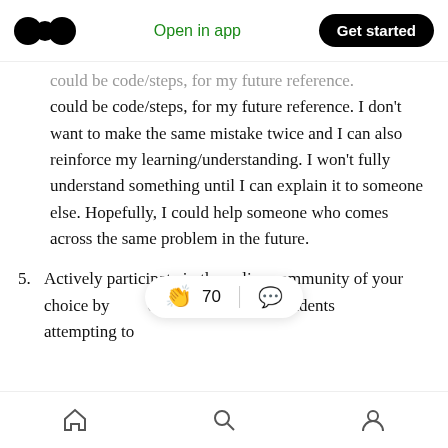Open in app | Get started
could be code/steps, for my future reference. I don't want to make the same mistake twice and I can also reinforce my learning/understanding. I won't fully understand something until I can explain it to someone else. Hopefully, I could help someone who comes across the same problem in the future.
5. Actively participate in the online community of your choice by ... oting/liking fellow students ... attempting to